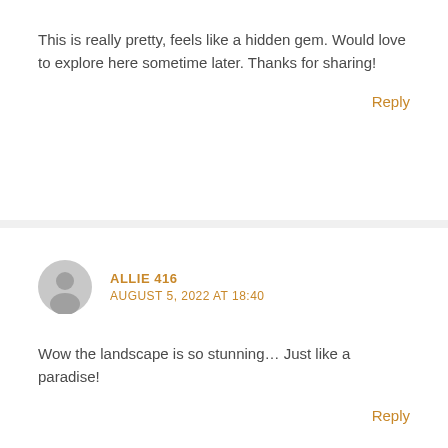This is really pretty, feels like a hidden gem. Would love to explore here sometime later. Thanks for sharing!
Reply
ALLIE 416
AUGUST 5, 2022 AT 18:40
Wow the landscape is so stunning… Just like a paradise!
Reply